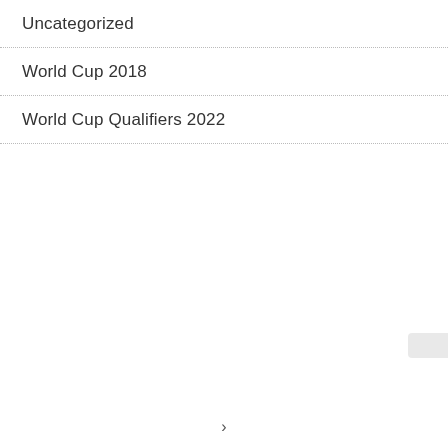Uncategorized
World Cup 2018
World Cup Qualifiers 2022